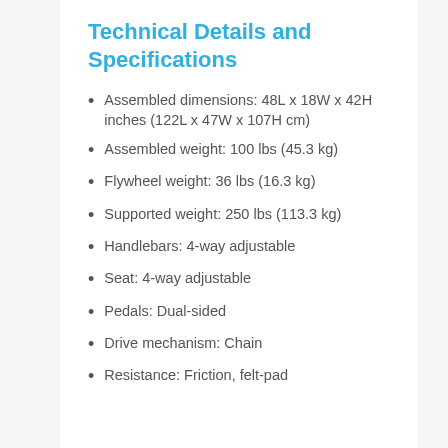Technical Details and Specifications
Assembled dimensions: 48L x 18W x 42H inches (122L x 47W x 107H cm)
Assembled weight: 100 lbs (45.3 kg)
Flywheel weight: 36 lbs (16.3 kg)
Supported weight: 250 lbs (113.3 kg)
Handlebars: 4-way adjustable
Seat: 4-way adjustable
Pedals: Dual-sided
Drive mechanism: Chain
Resistance: Friction, felt-pad